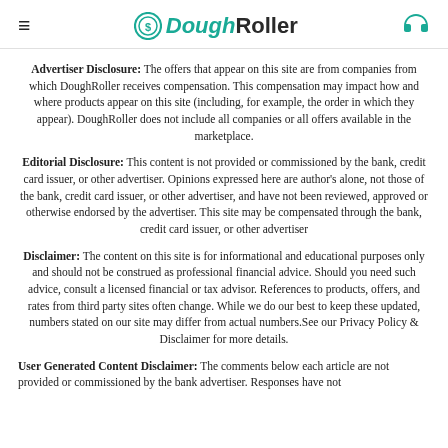≡ DoughRoller 🎧
Advertiser Disclosure: The offers that appear on this site are from companies from which DoughRller receives compensation. This compensation may impact how and where products appear on this site (including, for example, the order in which they appear). DoughRoller does not include all companies or all offers available in the marketplace.
Editorial Disclosure: This content is not provided or commissioned by the bank, credit card issuer, or other advertiser. Opinions expressed here are author's alone, not those of the bank, credit card issuer, or other advertiser, and have not been reviewed, approved or otherwise endorsed by the advertiser. This site may be compensated through the bank, credit card issuer, or other advertiser
Disclaimer: The content on this site is for informational and educational purposes only and should not be construed as professional financial advice. Should you need such advice, consult a licensed financial or tax advisor. References to products, offers, and rates from third party sites often change. While we do our best to keep these updated, numbers stated on our site may differ from actual numbers.See our Privacy Policy & Disclaimer for more details.
User Generated Content Disclaimer: The comments below each article are not provided or commissioned by the bank advertiser. Responses have not